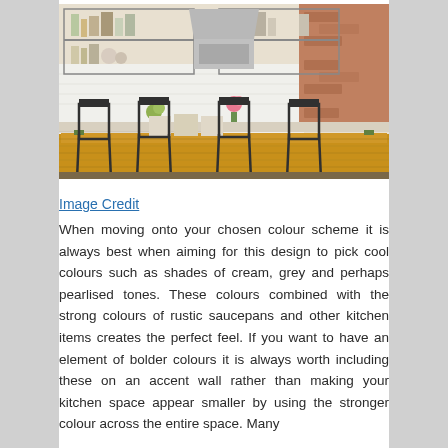[Figure (photo): Interior photo of a rustic farmhouse kitchen with a wooden dining table with green painted legs, black metal chairs, open shelving with dishes and glasses, white cabinetry, stainless steel range hood, brick wall, and decorative items on the table including tins and flowers.]
Image Credit
When moving onto your chosen colour scheme it is always best when aiming for this design to pick cool colours such as shades of cream, grey and perhaps pearlised tones. These colours combined with the strong colours of rustic saucepans and other kitchen items creates the perfect feel. If you want to have an element of bolder colours it is always worth including these on an accent wall rather than making your kitchen space appear smaller by using the stronger colour across the entire space. Many